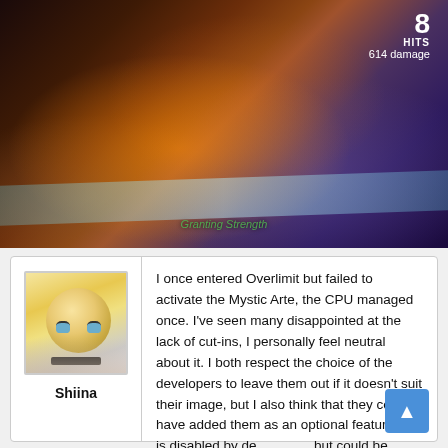[Figure (screenshot): Video game screenshot showing an anime-style action combat scene. Top right shows '8 HITS / 614 damage'. Bottom center shows combo text 'Granting Strength' or similar label.]
I once entered Overlimit but failed to activate the Mystic Arte, the CPU managed once. I've seen many disappointed at the lack of cut-ins, I personally feel neutral about it. I both respect the choice of the developers to leave them out if it doesn't suit their image, but I also think that they could have added them as an optional feature that is disabled by de but could be enabled.